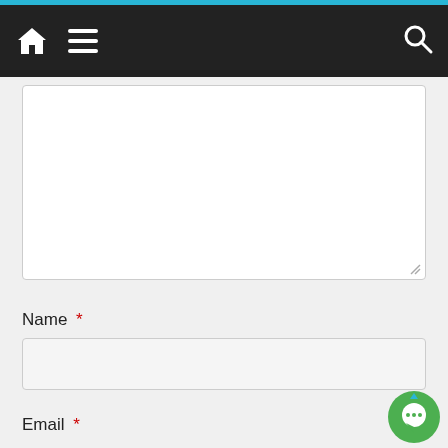[Figure (screenshot): Mobile web browser navigation bar with home icon, hamburger menu, and search icon on dark background with cyan top bar]
[Figure (screenshot): Large empty textarea form field with resize handle in bottom right corner]
Name *
[Figure (screenshot): Text input field for Name]
Email *
[Figure (screenshot): Chat bubble widget in bottom right corner]